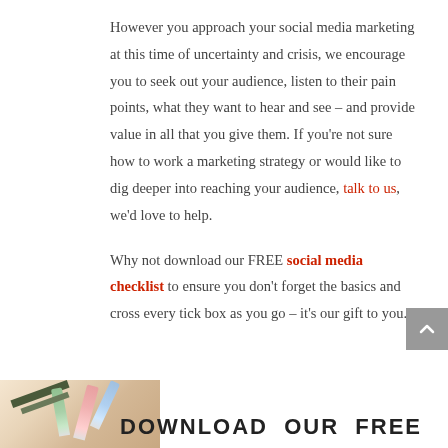However you approach your social media marketing at this time of uncertainty and crisis, we encourage you to seek out your audience, listen to their pain points, what they want to hear and see – and provide value in all that you give them. If you're not sure how to work a marketing strategy or would like to dig deeper into reaching your audience, talk to us, we'd love to help.
Why not download our FREE social media checklist to ensure you don't forget the basics and cross every tick box as you go – it's our gift to you.
[Figure (illustration): Bottom banner showing stationery/pencils image on left with text 'DOWNLOAD OUR FREE' in bold black letters]